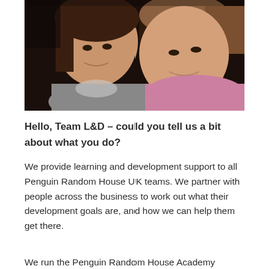[Figure (photo): Two young women smiling closely together. The woman on the left has dark hair and wears a grey turtleneck sweater. The woman on the right has lighter hair pulled back and wears a pink ribbed sweater. The background is dark and blurred.]
Hello, Team L&D – could you tell us a bit about what you do?
We provide learning and development support to all Penguin Random House UK teams. We partner with people across the business to work out what their development goals are, and how we can help them get there.
We run the Penguin Random House Academy